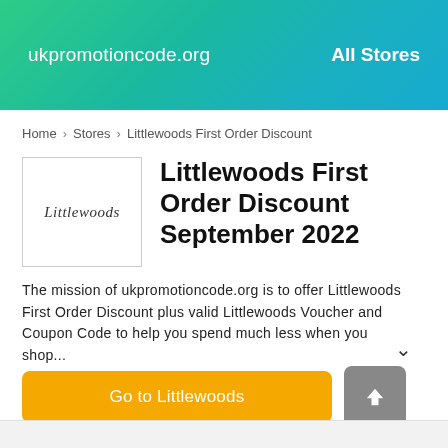ukpromotioncode.org   All Stores
Home > Stores > Littlewoods First Order Discount
Littlewoods First Order Discount September 2022
[Figure (logo): Littlewoods logo in a bordered box with italic text 'Littlewoods']
The mission of ukpromotioncode.org is to offer Littlewoods First Order Discount plus valid Littlewoods Voucher and Coupon Code to help you spend much less when you shop...
Go to Littlewoods